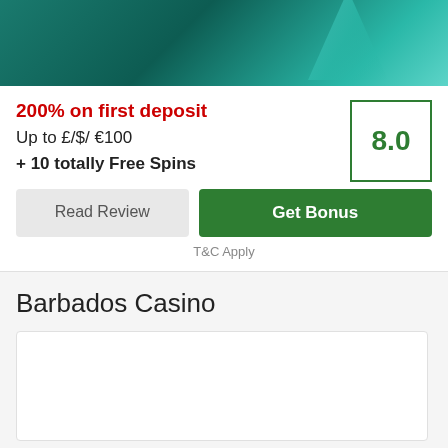[Figure (illustration): Teal/green casino banner image with abstract triangular shapes]
200% on first deposit
Up to £/$/ €100
+ 10 totally Free Spins
8.0
Read Review
Get Bonus
T&C Apply
Barbados Casino
[Figure (screenshot): Empty white card area below Barbados Casino heading]